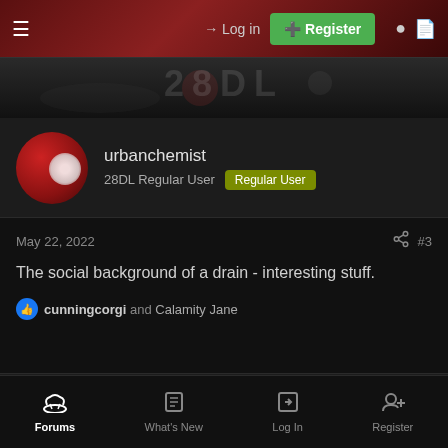→ Log in  Register
[Figure (photo): Dark banner image with blurred background scene]
urbanchemist
28DL Regular User  Regular User
May 22, 2022  #3
The social background of a drain - interesting stuff.
cunningcorgi and Calamity Jane
Calamity Jane
i see beauty in the unloved, places & things  Regular User
Forums  What's New  Log In  Register